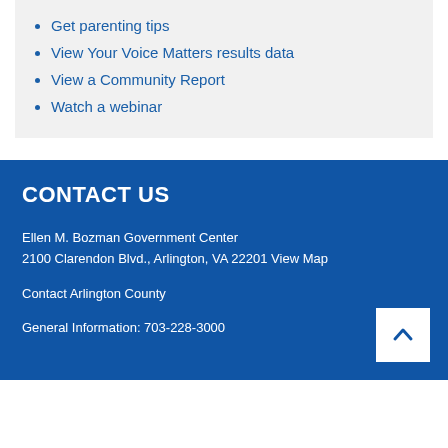Get parenting tips
View Your Voice Matters results data
View a Community Report
Watch a webinar
CONTACT US
Ellen M. Bozman Government Center
2100 Clarendon Blvd., Arlington, VA 22201 View Map
Contact Arlington County
General Information: 703-228-3000